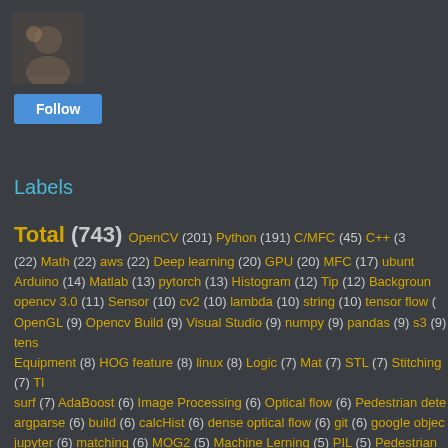[Figure (photo): User avatar photo showing a person]
Follow
Labels
Total (743) OpenCV (201) Python (191) C/MFC (45) C++ (3) (22) Math (22) aws (22) Deep learning (20) GPU (20) MFC (17) ubuntu Arduino (14) Matlab (13) pytorch (13) Histogram (12) Tip (12) Background opencv 3.0 (11) Sensor (10) cv2 (10) lambda (10) string (10) tensor flow OpenGL (9) Opencv Build (9) Visual Studio (9) numpy (9) pandas (9) s3 (9) tens Equipment (8) HOG feature (8) linux (8) Logic (7) Mat (7) STL (7) Stitching (7) Th surf (7) AdaBoost (6) Image Processing (6) Optical flow (6) Pedestrian dete argparse (6) build (6) calcHist (6) dense optical flow (6) git (6) google objec jupyter (6) matching (6) MOG2 (5) Machine Lerning (5) PIL (5) Pedestrian tra VideoCapture (5) db (5) findContours (5) image data (5) list (5) pillow setMouseCallback (5) sklearn (5) threshold (5) torch (5) Canny Edge (4) Direc Dynamodb (4) Keras (4) Projects (4) SIFT (4) Serial Communication (4) Sh Algorithm ( I need your thought ) (4) VTK (4) auc (4) csv (4) cvtColor (4) mouse e (4) pdf (4) python opencv (4) s3 bucket (4) split (4) string functions (4) tensor (4)